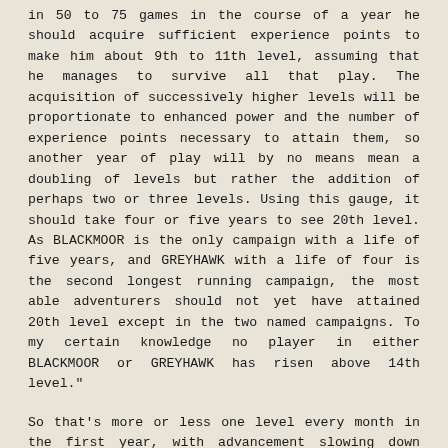in 50 to 75 games in the course of a year he should acquire sufficient experience points to make him about 9th to 11th level, assuming that he manages to survive all that play. The acquisition of successively higher levels will be proportionate to enhanced power and the number of experience points necessary to attain them, so another year of play will by no means mean a doubling of levels but rather the addition of perhaps two or three levels. Using this gauge, it should take four or five years to see 20th level. As BLACKMOOR is the only campaign with a life of five years, and GREYHAWK with a life of four is the second longest running campaign, the most able adventurers should not yet have attained 20th level except in the two named campaigns. To my certain knowledge no player in either BLACKMOOR or GREYHAWK has risen above 14th level."
So that's more or less one level every month in the first year, with advancement slowing down once name level is acquired, to once every three or four months, playing regularly once or twice a week (once every 1.5 weeks on average, from his numbers). Once name level is hit in